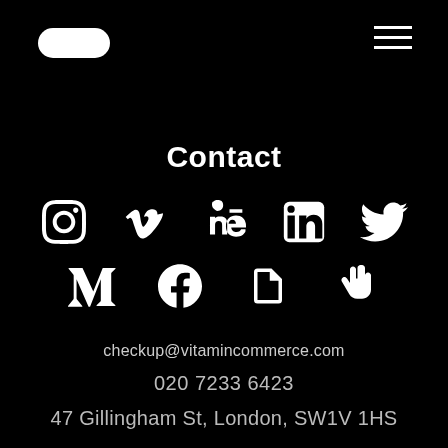[Figure (other): White rounded pill/button shape in top-left corner]
[Figure (other): Hamburger menu icon (3 white horizontal lines) in top-right corner]
Contact
[Figure (other): Row of social media icons: Instagram, Vimeo, Behance, LinkedIn, Twitter]
[Figure (other): Row of social media icons: Medium, Facebook, Document/file, Peace hand sign]
checkup@vitamincommerce.com
020 7233 6423
47 Gillingham St, London, SW1V 1HS